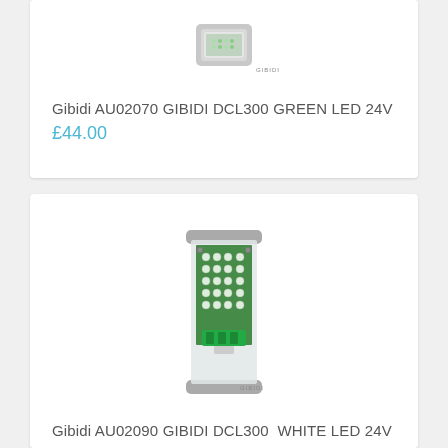[Figure (photo): Gibidi AU02070 DCL300 Green LED 24V product photo - small rectangular LED unit with grey housing, top view showing circuit board]
Gibidi AU02070 GIBIDI DCL300 GREEN LED 24V
£44.00
[Figure (photo): Gibidi AU02090 DCL300 White LED 24V product photo - tall rectangular transparent enclosure with grey housing showing LED circuit board with multiple white LEDs and green terminal block]
Gibidi AU02090 GIBIDI DCL300  WHITE LED 24V
£44.00